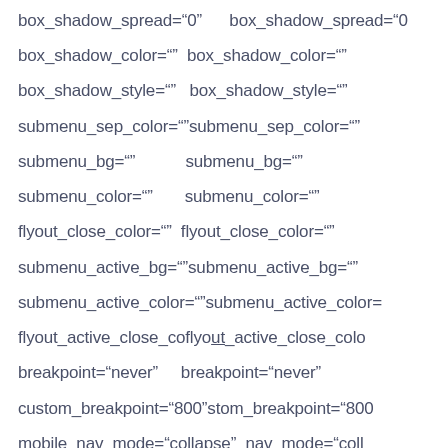box_shadow_spread="0"  box_shadow_spread="0"
box_shadow_color=""  box_shadow_color=""
box_shadow_style=""  box_shadow_style=""
submenu_sep_color=""  submenu_sep_color=""
submenu_bg=""  submenu_bg=""
submenu_color=""  submenu_color=""
flyout_close_color=""  flyout_close_color=""
submenu_active_bg=""  submenu_active_bg=""
submenu_active_color=  submenu_active_color=
flyout_active_close_color  flyout_active_close_colo
breakpoint="never"  breakpoint="never"
custom_breakpoint="800"  custom_breakpoint="800"
mobile_nav_mode="collapse"  mobile_nav_mode="coll
to_button"  to_button"